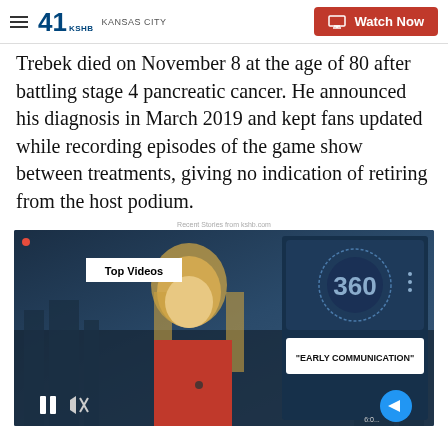41 KSHB KANSAS CITY | Watch Now
Trebek died on November 8 at the age of 80 after battling stage 4 pancreatic cancer. He announced his diagnosis in March 2019 and kept fans updated while recording episodes of the game show between treatments, giving no indication of retiring from the host podium.
Recent Stories from kshb.com
[Figure (screenshot): Video player screenshot showing a news anchor in red dress with 'Top Videos' badge, a 360 logo panel, and 'EARLY COMMUNICATION' text overlay. Pause, mute, and arrow controls visible at bottom.]